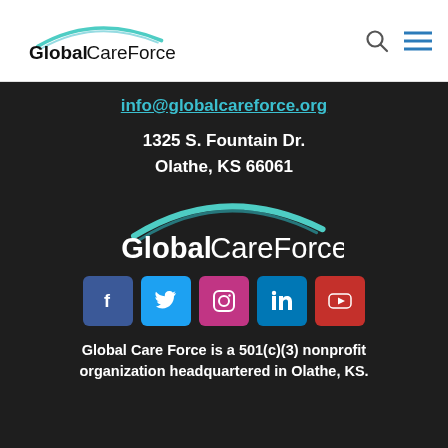[Figure (logo): GlobalCareForce logo with teal arc above bold 'Global' and regular 'CareForce' text, on white background]
info@globalcareforce.org
1325 S. Fountain Dr.
Olathe, KS 66061
[Figure (logo): GlobalCareForce logo white version with teal arc above bold 'Global' and regular 'CareForce' text, on dark background]
[Figure (infographic): Social media icons row: Facebook (blue), Twitter (light blue), Instagram (pink/magenta), LinkedIn (blue), YouTube (red)]
Global Care Force is a 501(c)(3) nonprofit organization headquartered in Olathe, KS.